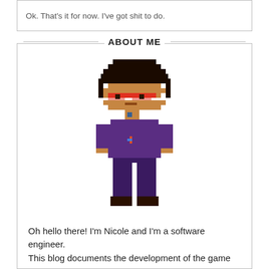Ok. That's it for now. I've got shit to do.
ABOUT ME
[Figure (illustration): Pixel art avatar of a Black woman with an afro, red glasses, brown skin, wearing a purple jacket with a lightning bolt pin, purple pants, standing upright.]
Oh hello there! I'm Nicole and I'm a software engineer. This blog documents the development of the game